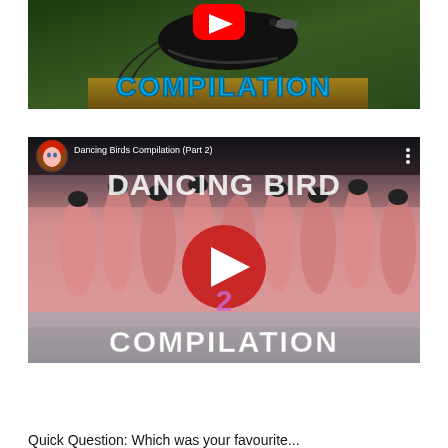[Figure (screenshot): YouTube video thumbnail showing a black bird with green foliage background, with YouTube play button logo and cyan text 'COMPILATION' overlaid]
[Figure (screenshot): YouTube video player screenshot titled 'Dancing Birds Compilation (Part 2)' showing a crowd of pink flamingos with YouTube play button overlay and white text 'DANCING BIRD COMPILATION' overlaid. Avatar of a cartoon woman with red hair visible in top-left.]
Quick Question: Which was your favourite...